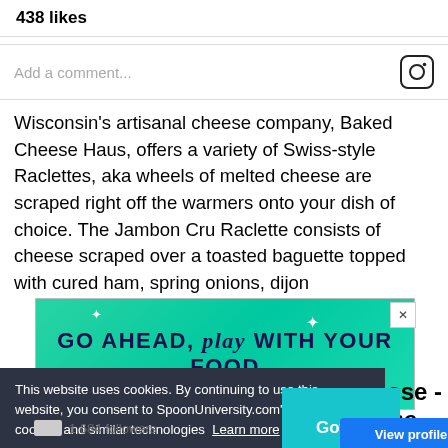438 likes
Add a comment...
Wisconsin’s artisanal cheese company, Baked Cheese Haus, offers a variety of Swiss-style Raclettes, aka wheels of melted cheese are scraped right off the warmers onto your dish of choice. The Jambon Cru Raclette consists of cheese scraped over a toasted baguette topped with cured ham, spring onions, dijon
[Figure (screenshot): Advertisement banner with teal/green gradient background reading 'GO AHEAD, play WITH YOUR FOOD' with sparkle decorations]
This website uses cookies. By continuing to use this website, you consent to SpoonUniversity.com’s usage of cookies and similar technologies Learn more
Got it!
eese - The
View profile
1,684 followers